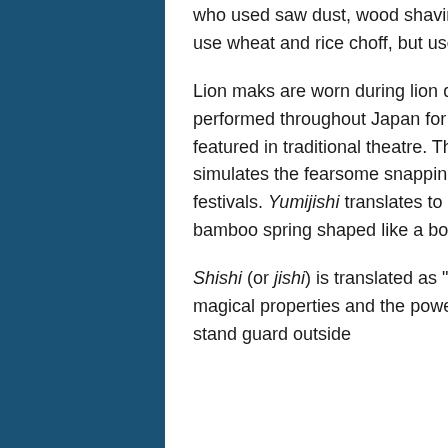who used saw dust, wood shavings, and rice paste. Contemporary masks also use wheat and rice choff, but use a better bonding paste than rice.
Lion maks are worn during lion dances (shishi-mai), an event in local festivals performed throughout Japan for centuries. Lion dances and masks are also featured in traditional theatre. This small version is worn like a hand puppet and simulates the fearsome snapping of the jaws of the large masks worn for festivals. Yumijishi translates to "bow lion" because it is maniulated with the bent bamboo spring shaped like a bow.
Shishi (or jishi) is translated as "lion," but can also refer to a deer or dog with magical properties and the power to repel evil spirits. A pair of shishi traditionally stand guard outside